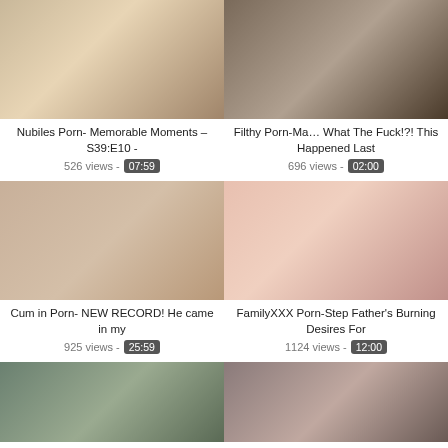[Figure (photo): Video thumbnail 1 - top left]
Nubiles Porn- Memorable Moments – S39:E10 -
526 views - 07:59
[Figure (photo): Video thumbnail 2 - top right]
Filthy Porn-Ma… What The Fuck!?! This Happened Last
696 views - 02:00
[Figure (photo): Video thumbnail 3 - middle left]
Cum in Porn- NEW RECORD! He came in my
925 views - 25:59
[Figure (photo): Video thumbnail 4 - middle right]
FamilyXXX Porn-Step Father's Burning Desires For
1124 views - 12:00
[Figure (photo): Video thumbnail 5 - bottom left (partial)]
[Figure (photo): Video thumbnail 6 - bottom right (partial)]